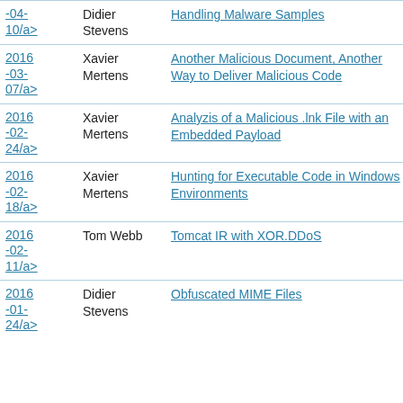2016-04-10/a> | Didier Stevens | Handling Malware Samples
2016-03-07/a> | Xavier Mertens | Another Malicious Document, Another Way to Deliver Malicious Code
2016-02-24/a> | Xavier Mertens | Analyzis of a Malicious .lnk File with an Embedded Payload
2016-02-18/a> | Xavier Mertens | Hunting for Executable Code in Windows Environments
2016-02-11/a> | Tom Webb | Tomcat IR with XOR.DDoS
2016-01-24/a> | Didier Stevens | Obfuscated MIME Files